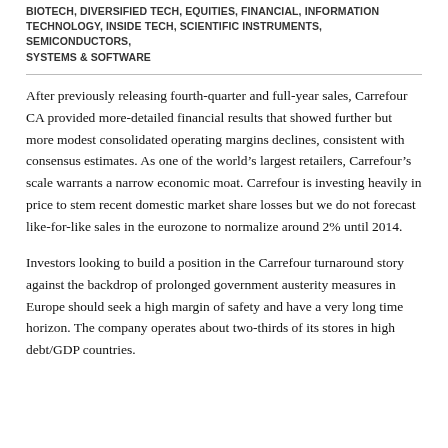BIOTECH, DIVERSIFIED TECH, EQUITIES, FINANCIAL, INFORMATION TECHNOLOGY, INSIDE TECH, SCIENTIFIC INSTRUMENTS, SEMICONDUCTORS, SYSTEMS & SOFTWARE
After previously releasing fourth-quarter and full-year sales, Carrefour CA provided more-detailed financial results that showed further but more modest consolidated operating margins declines, consistent with consensus estimates. As one of the world's largest retailers, Carrefour's scale warrants a narrow economic moat. Carrefour is investing heavily in price to stem recent domestic market share losses but we do not forecast like-for-like sales in the eurozone to normalize around 2% until 2014.
Investors looking to build a position in the Carrefour turnaround story against the backdrop of prolonged government austerity measures in Europe should seek a high margin of safety and have a very long time horizon. The company operates about two-thirds of its stores in high debt/GDP countries.